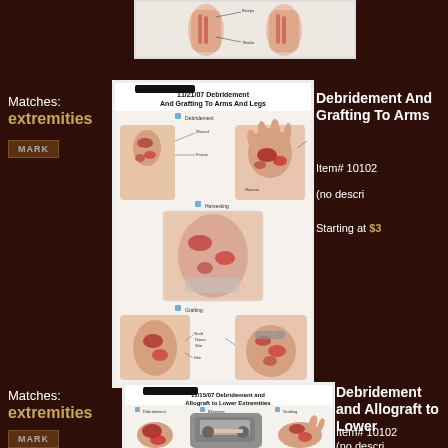[Figure (illustration): Partial medical illustration of leg muscles and anatomy, visible at top of page]
Matches: extremities
MARK
[Figure (illustration): Medical chart showing 11/21/07 Debridement And Grafting To Arms And Legs with anatomical illustrations of arms, hands, legs with wound debridement and grafting procedures]
Debridement And Grafting To Arms And Legs
Item# 10102
(no description)
Starting at $3
Matches: extremities
MARK
[Figure (illustration): Medical chart showing 11/15/07 Debridement and Allograft to Lower Extremities with anatomical illustrations]
Debridement and Allograft to Lower Extremities
Item# 10102
(no description)